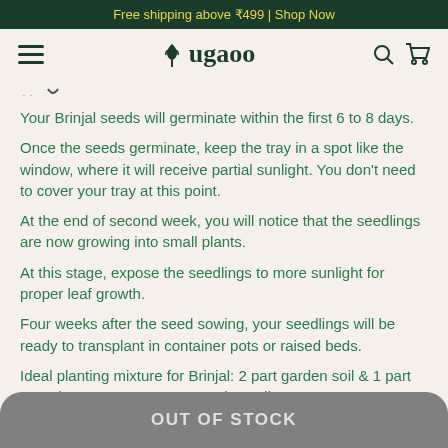Free shipping above ₹499 | Shop Now
[Figure (logo): Ugaoo brand logo with plant icon and hamburger menu, search and cart icons]
Your Brinjal seeds will germinate within the first 6 to 8 days.
Once the seeds germinate, keep the tray in a spot like the window, where it will receive partial sunlight. You don't need to cover your tray at this point.
At the end of second week, you will notice that the seedlings are now growing into small plants.
At this stage, expose the seedlings to more sunlight for proper leaf growth.
Four weeks after the seed sowing, your seedlings will be ready to transplant in container pots or raised beds.
Ideal planting mixture for Brinjal: 2 part garden soil & 1 part organic manure OR 1 part garden soil, 1 part coco-peat & 1 part Vermicompost
OUT OF STOCK